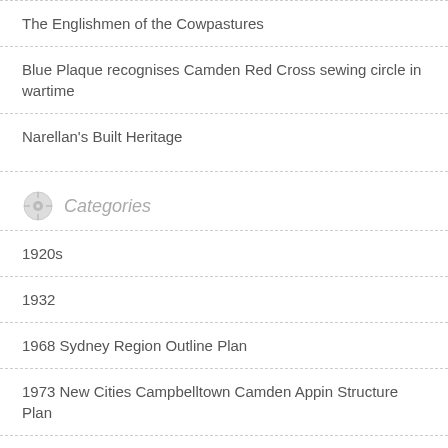The Englishmen of the Cowpastures
Blue Plaque recognises Camden Red Cross sewing circle in wartime
Narellan's Built Heritage
Categories
1920s
1932
1968 Sydney Region Outline Plan
1973 New Cities Campbelltown Camden Appin Structure Plan
20th century